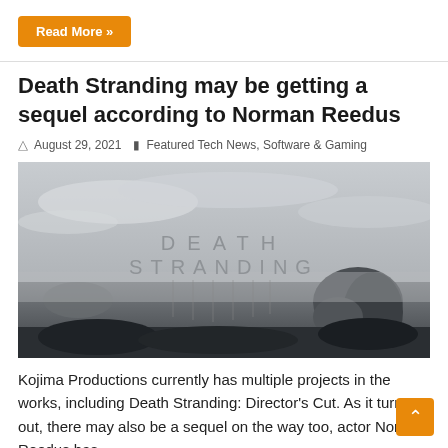Read More »
Death Stranding may be getting a sequel according to Norman Reedus
August 29, 2021   Featured Tech News, Software & Gaming
[Figure (photo): Death Stranding game title card over a desolate misty landscape with rocks and coastline in black and white]
Kojima Productions currently has multiple projects in the works, including Death Stranding: Director's Cut. As it turns out, there may also be a sequel on the way too, actor Norman Reedus has